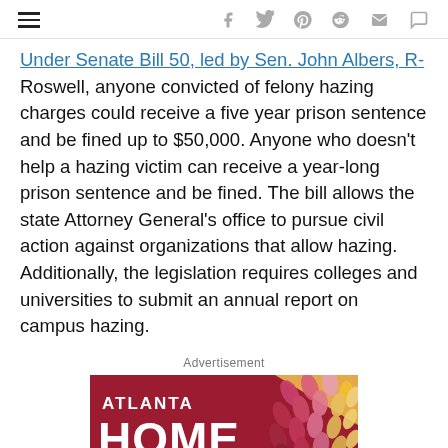[Navigation bar with hamburger menu and social share icons: Facebook, Twitter, Pinterest, Reddit, Email, Comment]
Under Senate Bill 50, led by Sen. John Albers, R-Roswell, anyone convicted of felony hazing charges could receive a five year prison sentence and be fined up to $50,000. Anyone who doesn't help a hazing victim can receive a year-long prison sentence and be fined. The bill allows the state Attorney General's office to pursue civil action against organizations that allow hazing. Additionally, the legislation requires colleges and universities to submit an annual report on campus hazing.
Advertisement
[Figure (other): Atlanta Home Show advertisement banner with dark red/crimson background, white bold text reading ATLANTA HOME and partial text below, with decorative leaf/petal pattern on the right side in shades of pink, red, and yellow.]